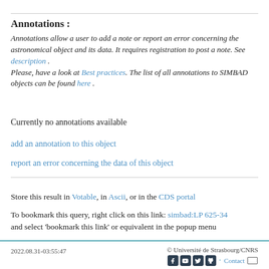Annotations :
Annotations allow a user to add a note or report an error concerning the astronomical object and its data. It requires registration to post a note. See description . Please, have a look at Best practices. The list of all annotations to SIMBAD objects can be found here .
Currently no annotations available
add an annotation to this object
report an error concerning the data of this object
Store this result in Votable, in Ascii, or in the CDS portal
To bookmark this query, right click on this link: simbad:LP 625-34 and select 'bookmark this link' or equivalent in the popup menu
2022.08.31-03:55:47   © Université de Strasbourg/CNRS   Contact